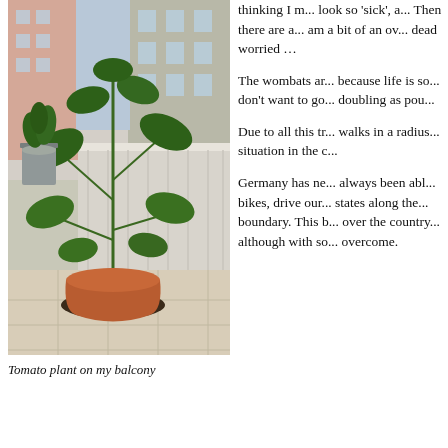[Figure (photo): Tomato plant in a terracotta pot on a balcony with metal railing, other potted plants including rosemary in a metal bucket, apartment buildings visible in background]
Tomato plant on my balcony
thinking I m... look so 'sick', a... Then there are a... am a bit of an ov... dead worried …
The wombats ar... because life is so... don't want to go... doubling as pou...
Due to all this tr... walks in a radius... situation in the c...
Germany has ne... always been abl... bikes, drive our... states along the... boundary. This b... over the country... although with so... overcome.